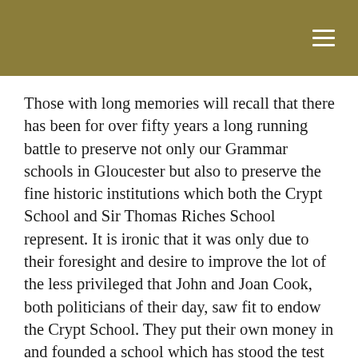Those with long memories will recall that there has been for over fifty years a long running battle to preserve not only our Grammar schools in Gloucester but also to preserve the fine historic institutions which both the Crypt School and Sir Thomas Riches School represent. It is ironic that it was only due to their foresight and desire to improve the lot of the less privileged that John and Joan Cook, both politicians of their day, saw fit to endow the Crypt School. They put their own money in and founded a school which has stood the test of time for four hundred and sixty four years. In its time it has produced great citizens for both our country and the city of Gloucester. It continues so to do and should not be allowed to be